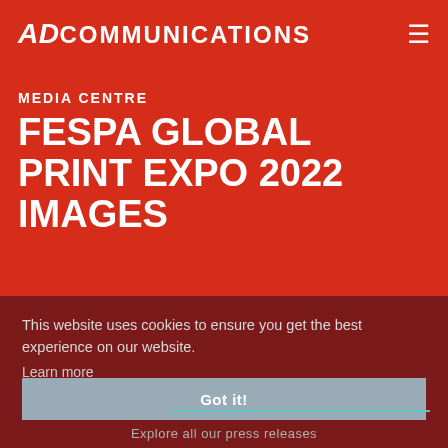AD COMMUNICATIONS
MEDIA CENTRE
FESPA GLOBAL PRINT EXPO 2022 IMAGES
This website uses cookies to ensure you get the best experience on our website.
Learn more
SEARCH
Got it!
Explore all our press releases